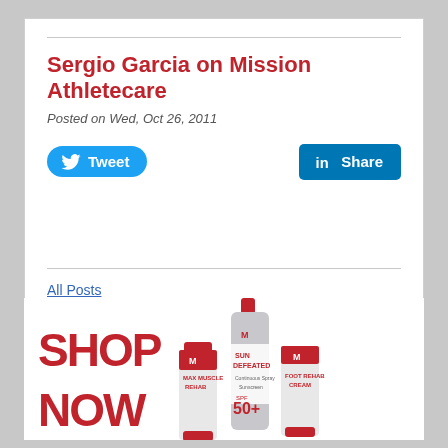Sergio Garcia on Mission Athletecare
Posted on Wed, Oct 26, 2011
[Figure (screenshot): Twitter Tweet button (blue rounded) and LinkedIn Share button (blue square)]
All Posts
[Figure (photo): Mission Athletecare shop now banner showing Max Muscle Rehab, Sun Defeated SPF 50+ spray, and Foot Rehab Cream products with SHOP NOW text in red dot-matrix style]